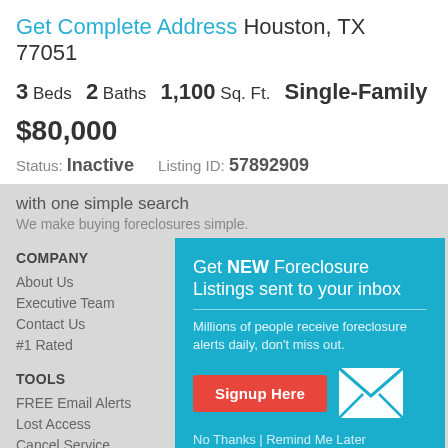Get Complete Address Houston, TX 77051
3 Beds   2 Baths   1,100 Sq. Ft.   Single-Family
$80,000
Status: Inactive   Listing ID: 57892909
with one simple search
We make buying foreclosures simple.
COMPANY
About Us
Executive Team
Contact Us
#1 Rated
[Figure (infographic): Teal popup box promoting foreclosure listing alerts: 'Get NEW Foreclosure Listings sent to your inbox', with description 'Millions of people receive foreclosure alerts daily, don't miss out.', a red Signup Here button, envelope icon, and 'No Thanks | Remind Me Later' link]
TOOLS
FREE Email Alerts
Lost Access
Cancel Service
Become an affiliate
Advertise on Foreclosure.com